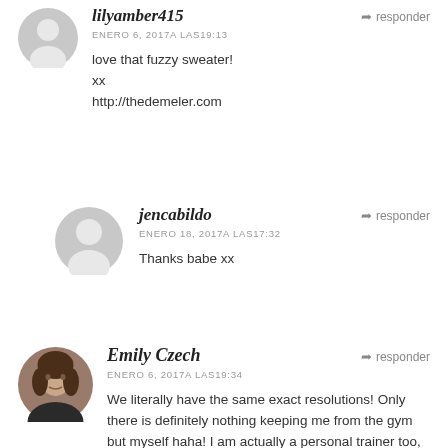lilyamber415 — ENERO 6, 2017A LAS19:13 — love that fuzzy sweater!
xx
http://thedemeler.com
jencabildo — ENERO 18, 2017A LAS17:32 — Thanks babe xx
Emily Czech — ENERO 6, 2017A LAS19:34 — We literally have the same exact resolutions! Only there is definitely nothing keeping me from the gym but myself haha! I am actually a personal trainer too, and I've only been going to the gym 2-3 times a week. My blog has just